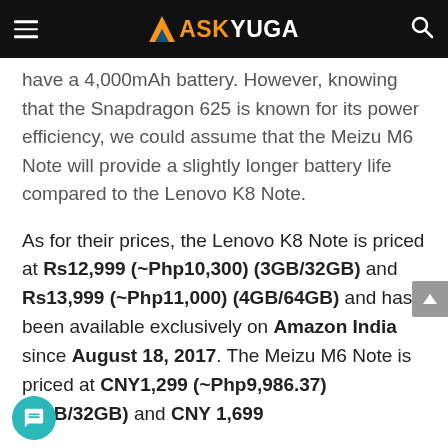MASKYUGA
have a 4,000mAh battery. However, knowing that the Snapdragon 625 is known for its power efficiency, we could assume that the Meizu M6 Note will provide a slightly longer battery life compared to the Lenovo K8 Note.
As for their prices, the Lenovo K8 Note is priced at Rs12,999 (~Php10,300) (3GB/32GB) and Rs13,999 (~Php11,000) (4GB/64GB) and has been available exclusively on Amazon India since August 18, 2017. The Meizu M6 Note is priced at CNY1,299 (~Php9,986.37) (3GB/32GB) and CNY 1,699